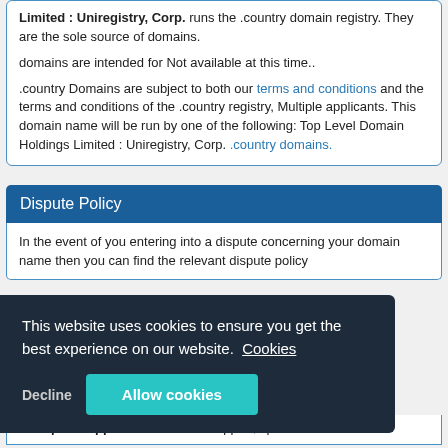Limited : Uniregistry, Corp. runs the .country domain registry. They are the sole source of domains.
domains are intended for Not available at this time..
.country Domains are subject to both our terms and conditions and the terms and conditions of the .country registry, Multiple applicants. This domain name will be run by one of the following: Top Level Domain Holdings Limited : Uniregistry, Corp. .country domains.
Dispute Policy
In the event of you entering into a dispute concerning your domain name then you can find the relevant dispute policy
This website uses cookies to ensure you get the best experience on our website. Cookies
Decline  Allow cookies
Helpful Support We offer real support, speak to a real